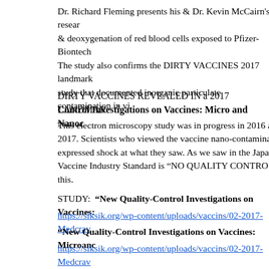Dr. Richard Fleming presents his & Dr. Kevin McCairn's research & deoxygenation of red blood cells exposed to Pfizer-Biontech. The study also confirms the DIRTY VACCINES 2017 landmark study that documented inorganic particulate contamination in vi
DIRTY VACCINES REVEALED IN a 2017 LANDMARK STUDY
Control Investigations on Vaccines: Micro and Nanoc
This electron microscopy study was in progress in 2016 and 2017. Scientists who viewed the vaccine nano-contamina expressed shock at what they saw. As we saw in the Japa Vaccine Industry Standard is "NO QUALITY CONTRO this.
STUDY:  “New Quality-Control Investigations on Vaccines:
https://siksik.org/wp-content/uploads/vaccins/02-2017-Medcrav
“New Quality-Control Investigations on Vaccines: Microanc
https://siksik.org/wp-content/uploads/vaccins/02-2017-Medcrav